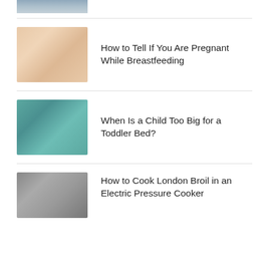[Figure (photo): Partial top of an article thumbnail image (cropped, showing only bottom portion)]
How to Tell If You Are Pregnant While Breastfeeding
[Figure (photo): Photo of a baby breastfeeding]
When Is a Child Too Big for a Toddler Bed?
[Figure (photo): Photo of a child sleeping on a teal pillow]
How to Cook London Broil in an Electric Pressure Cooker
[Figure (photo): Photo of an electric pressure cooker]